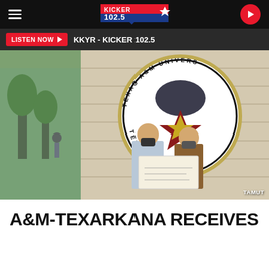KICKER 102.5 — navigation bar with hamburger menu and play button
LISTEN NOW ▶  KKYR - KICKER 102.5
[Figure (photo): Two people wearing face masks stand in front of a Texas A&M University-Texarkana building seal/logo on a stone wall, holding a large ceremonial check. Credit: TAMUT]
A&M-TEXARKANA RECEIVES